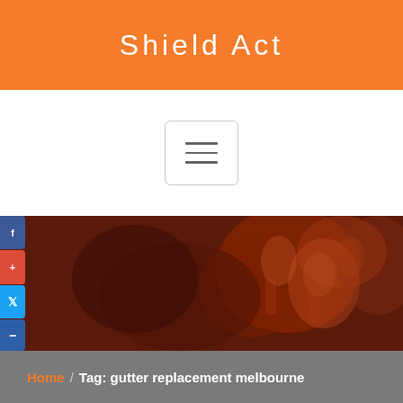Shield Act
[Figure (screenshot): Hamburger menu button with three horizontal lines inside a rounded rectangle border]
[Figure (photo): Blurred dark red/brown hero banner image with indistinct figures and social media share buttons on the left side]
Home / Tag: gutter replacement melbourne